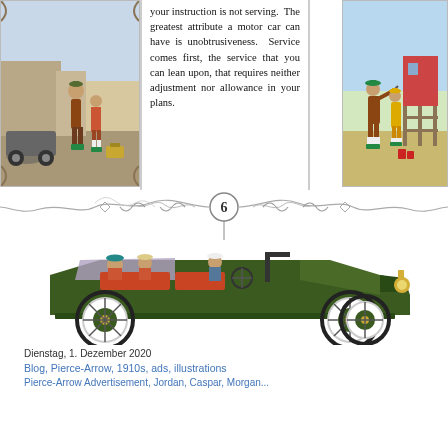[Figure (illustration): Left vignette: vintage illustration of two figures in early 1900s clothing standing next to an automobile on a street scene]
your instruction is not serving. The greatest attribute a motor car can have is unobtrusiveness. Service comes first, the service that you can lean upon, that requires neither adjustment nor allowance in your plans.
[Figure (illustration): Right vignette: vintage illustration of two figures in early 1900s golf attire on a golf course]
[Figure (illustration): Decorative ornamental divider with scrollwork and a circle containing the number 6 in the center]
[Figure (illustration): Vintage color illustration of a large green open-top touring automobile (Pierce-Arrow) with passengers and driver, white-wall tires, side-view]
Dienstag, 1. Dezember 2020
Blog, Pierce-Arrow, 1910s, ads, illustrations
Pierce-Arrow Advertisement, Jordan, Caspar, Morgan